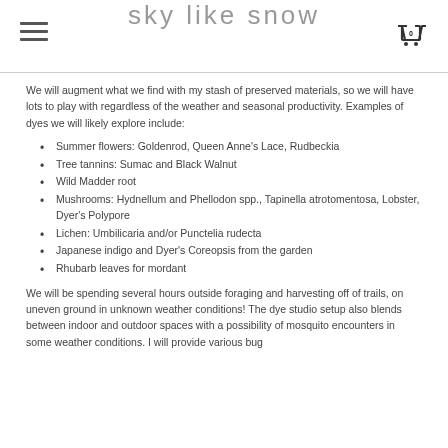sky like snow
We will augment what we find with my stash of preserved materials, so we will have lots to play with regardless of the weather and seasonal productivity. Examples of dyes we will likely explore include:
Summer flowers: Goldenrod, Queen Anne's Lace, Rudbeckia
Tree tannins: Sumac and Black Walnut
Wild Madder root
Mushrooms: Hydnellum and Phellodon spp., Tapinella atrotomentosa, Lobster, Dyer's Polypore
Lichen: Umbilicaria and/or Punctelia rudecta
Japanese indigo and Dyer's Coreopsis from the garden
Rhubarb leaves for mordant
We will be spending several hours outside foraging and harvesting off of trails, on uneven ground in unknown weather conditions! The dye studio setup also blends between indoor and outdoor spaces with a possibility of mosquito encounters in some weather conditions. I will provide various bug